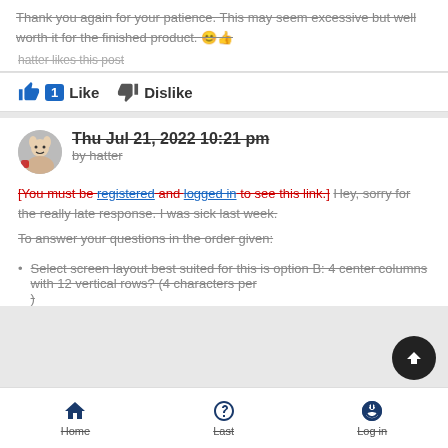Thank you again for your patience. This may seem excessive but well worth it for the finished product. 😊👍
hatter likes this post
👍 1 Like  👎 Dislike
Thu Jul 21, 2022 10:21 pm
by hatter
[You must be registered and logged in to see this link.] Hey, sorry for the really late response. I was sick last week.
To answer your questions in the order given:
Select screen layout best suited for this is option B: 4 center columns with 12 vertical rows? (4 characters per )
Home  Last  Log in